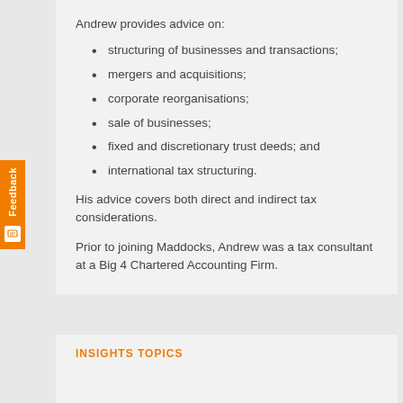Andrew provides advice on:
structuring of businesses and transactions;
mergers and acquisitions;
corporate reorganisations;
sale of businesses;
fixed and discretionary trust deeds; and
international tax structuring.
His advice covers both direct and indirect tax considerations.
Prior to joining Maddocks, Andrew was a tax consultant at a Big 4 Chartered Accounting Firm.
INSIGHTS TOPICS